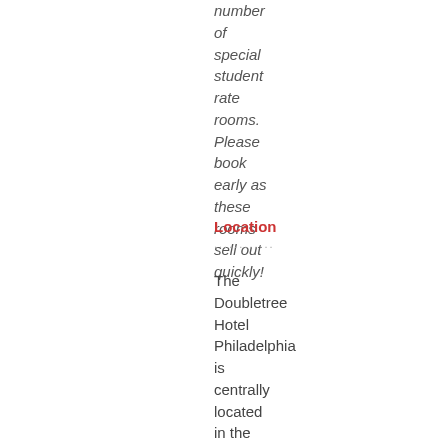number of special student rate rooms. Please book early as these rooms sell out quickly!
Location
The Doubletree Hotel Philadelphia is centrally located in the heart of Philadelphia's cultural district on the Avenue